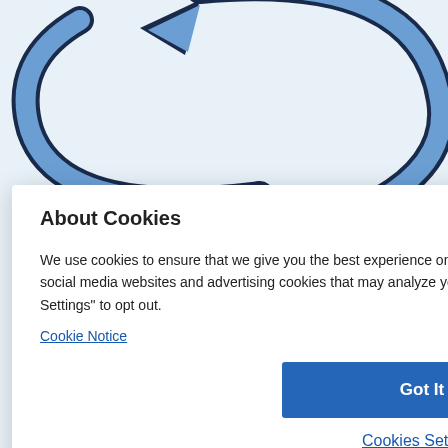[Figure (illustration): Blue curved arrows forming a circular refresh/migration icon, partially visible at top of page]
WEBSITE MIGRATION SERVICE
About Cookies
We use cookies to ensure that we give you the best experience on our website. This includes cookies from third party social media websites and advertising cookies that may analyze your use of this site. Click "Got it" to agree or "Cookie Settings" to opt out.
Cookie Notice
Got It
Cookies Settings